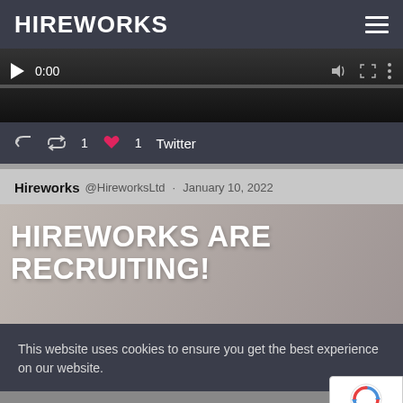HIREWORKS
[Figure (screenshot): Video player bar showing 0:00 timestamp with play, volume, fullscreen, and menu controls, and a progress bar below]
↩ 🔁1  ♥1  Twitter
Hireworks @HireworksLtd · January 10, 2022
[Figure (screenshot): Image with bold white text reading HIREWORKS ARE RECRUITING! overlaid on a dark background image]
This website uses cookies to ensure you get the best experience on our website.
Got it!